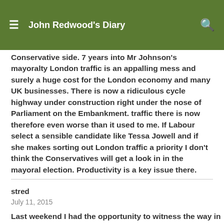John Redwood's Diary
Conservative side. 7 years into Mr Johnson's mayoralty London traffic is an appalling mess and surely a huge cost for the London economy and many UK businesses. There is now a ridiculous cycle highway under construction right under the nose of Parliament on the Embankment. traffic there is now therefore even worse than it used to me. If Labour select a sensible candidate like Tessa Jowell and if she makes sorting out London traffic a priority I don't think the Conservatives will get a look in in the mayoral election. Productivity is a key issue there.
stred
July 11, 2015
Last weekend I had the opportunity to witness the way in